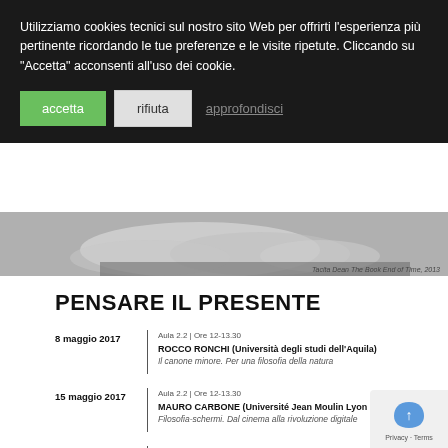Utilizziamo cookies tecnici sul nostro sito Web per offrirti l'esperienza più pertinente ricordando le tue preferenze e le visite ripetute. Cliccando su "Accetta" acconsenti all'uso dei cookie.
accetta
rifiuta
approfondisci
[Figure (photo): Grayscale photo of clouds or smoke, partially visible. Caption reads: Tacita Dean  The Book End of Time, 2013]
Tacita Dean  The Book End of Time, 2013
PENSARE IL PRESENTE
8 maggio 2017 | Aula 2.2 | Ore 12-13.30
ROCCO RONCHI (Università degli studi dell'Aquila)
Il canone minore. Per una filosofia della natura
15 maggio 2017 | Aula 2.2 | Ore 12-13.30
MAURO CARBONE (Université Jean Moulin Lyon 3)
Filosofia-schermi. Dal cinema alla rivoluzione digitale
22 maggio 2017 | Aula 2.2 | Ore 12-13.30
ALEX PAGLIARDINI (ALipsi, Roma)
Il sintomo di Lacan. Incontrare il reale